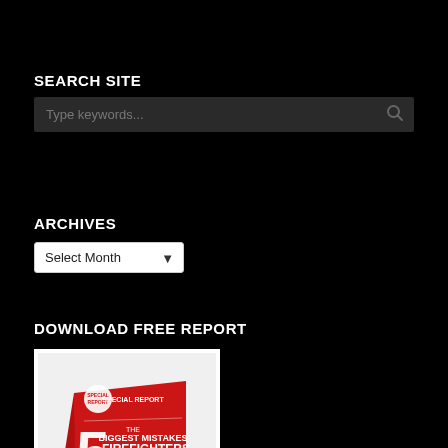SEARCH SITE
[Figure (screenshot): Search input field with placeholder text 'Type keywords...' and a search icon on the right, dark background]
ARCHIVES
[Figure (screenshot): Dropdown select menu showing 'Select Month' with a down arrow]
DOWNLOAD FREE REPORT
[Figure (photo): Red book cover titled 'The 5 Biggest Mistakes Firefighters Make and How to Avoid Them' - Special Report]